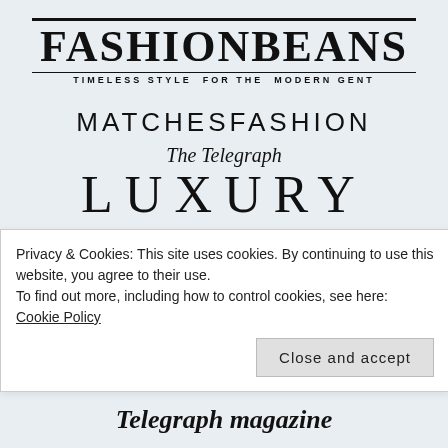[Figure (logo): FashionBeans logo — bold serif 'FASHIONBEANS' with tagline 'TIMELESS STYLE FOR THE MODERN GENT' below, enclosed in top and bottom rules]
[Figure (logo): MATCHESFASHION logo in spaced uppercase sans-serif]
[Figure (logo): The Telegraph Luxury logo — italic serif 'The Telegraph' above large spaced 'LUXURY']
[Figure (logo): Virgin Atlantic logo in dark red lowercase with red flag icon]
[Figure (logo): BEAUTY logo in large bold magenta italic serif]
Privacy & Cookies: This site uses cookies. By continuing to use this website, you agree to their use.
To find out more, including how to control cookies, see here: Cookie Policy
Close and accept
[Figure (logo): Telegraph magazine logo in large bold italic serif]